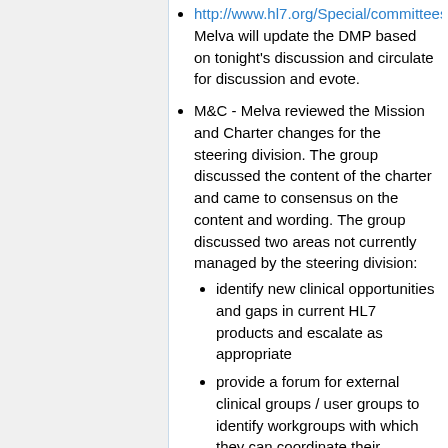http://www.hl7.org/Special/committees/desd/overview.cfm. Melva will update the DMP based on tonight's discussion and circulate for discussion and evote.
M&C - Melva reviewed the Mission and Charter changes for the steering division. The group discussed the content of the charter and came to consensus on the content and wording. The group discussed two areas not currently managed by the steering division:
identify new clinical opportunities and gaps in current HL7 products and escalate as appropriate
provide a forum for external clinical groups / user groups to identify workgroups with which they can coordinate their projects